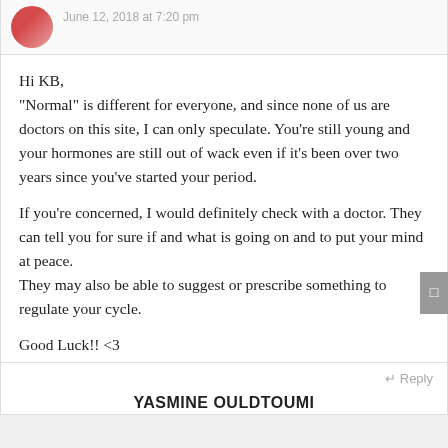June 12, 2018 at 7:20 pm
Hi KB,
“Normal” is different for everyone, and since none of us are doctors on this site, I can only speculate. You’re still young and your hormones are still out of wack even if it's been over two years since you’ve started your period.

If you’re concerned, I would definitely check with a doctor. They can tell you for sure if and what is going on and to put your mind at peace.
They may also be able to suggest or prescribe something to regulate your cycle.

Good Luck!! <3
Reply
YASMINE OULDTOUMI